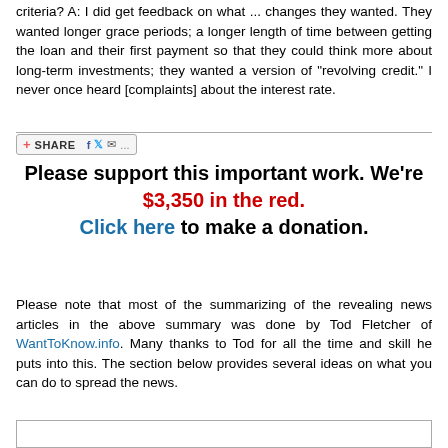criteria? A: I did get feedback on what ... changes they wanted. They wanted longer grace periods; a longer length of time between getting the loan and their first payment so that they could think more about long-term investments; they wanted a version of "revolving credit." I never once heard [complaints] about the interest rate.
[Figure (other): Social share button bar with Facebook, Twitter, and email icons]
Please support this important work. We're $3,350 in the red. Click here to make a donation.
Please note that most of the summarizing of the revealing news articles in the above summary was done by Tod Fletcher of WantToKnow.info. Many thanks to Tod for all the time and skill he puts into this. The section below provides several ideas on what you can do to spread the news.